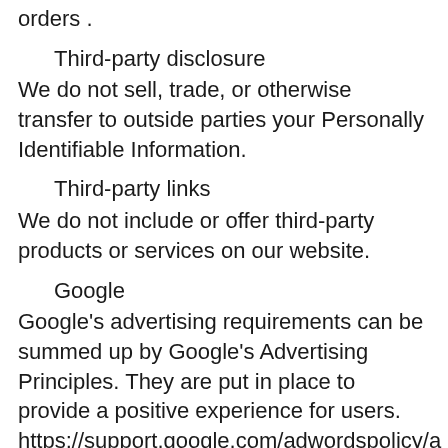orders .
Third-party disclosure
We do not sell, trade, or otherwise transfer to outside parties your Personally Identifiable Information.
Third-party links
We do not include or offer third-party products or services on our website.
Google
Google's advertising requirements can be summed up by Google's Advertising Principles. They are put in place to provide a positive experience for users. https://support.google.com/adwordspolicy/a bl=en